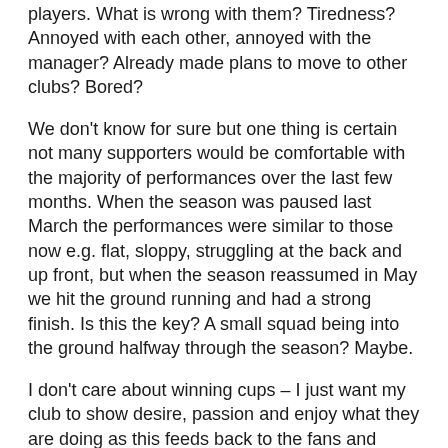players. What is wrong with them? Tiredness? Annoyed with each other, annoyed with the manager? Already made plans to move to other clubs? Bored?
We don't know for sure but one thing is certain not many supporters would be comfortable with the majority of performances over the last few months. When the season was paused last March the performances were similar to those now e.g. flat, sloppy, struggling at the back and up front, but when the season reassumed in May we hit the ground running and had a strong finish. Is this the key? A small squad being into the ground halfway through the season? Maybe.
I don't care about winning cups – I just want my club to show desire, passion and enjoy what they are doing as this feeds back to the fans and which in turn encourages the team. Weirdly I'm looking forward to get back to the New Delli when we are allowed to as at the moment I feel completely helpless as my club sleep walks to who knows where.
Please Ralph sort it out – the majority of us want you to succeed and succeed with Saints – but you need to change the team dynamic starting with a win against spuds.